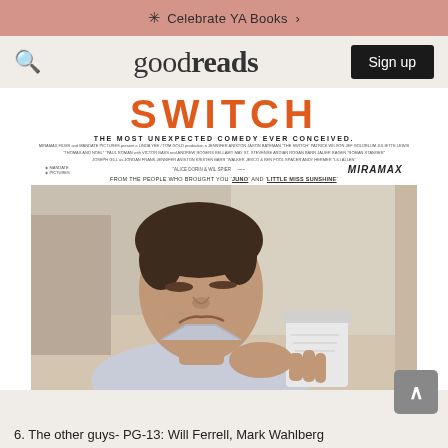Celebrate YA Books >
[Figure (screenshot): Goodreads website header with search icon on left, 'goodreads' logo in center, and 'Sign up' button on right]
[Figure (photo): Movie poster and photo for 'The Switch' (SWITCH) - showing the title in large orange letters, tagline 'THE MOST UNEXPECTED COMEDY EVER CONCEIVED', film credits, MIRAMAX branding, and a photo of actor Jason Bateman holding a cup with a grimacing expression]
6. The other guys- PG-13: Will Ferrell, Mark Wahlberg